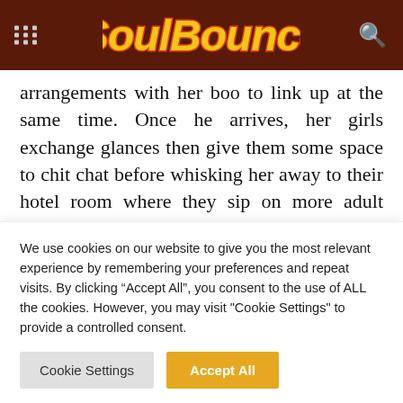SoulBounce
arrangements with her boo to link up at the same time. Once he arrives, her girls exchange glances then give them some space to chit chat before whisking her away to their hotel room where they sip on more adult beverages and dance around. Nik soon gets a “Can I see you again?” text from old boy and quickly responds with their room number before one of her friends snatches her phone out of her
We use cookies on our website to give you the most relevant experience by remembering your preferences and repeat visits. By clicking “Accept All”, you consent to the use of ALL the cookies. However, you may visit "Cookie Settings" to provide a controlled consent.